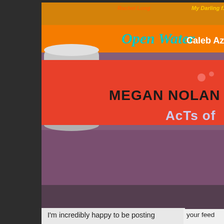[Figure (photo): Stack of books photographed from above/side: a yellow-orange book with 'Open Water Caleb Az...' visible, and a red/orange book with 'MEGAN NOLAN ACTS OF...' on the spine, on a purple background]
I'm incredibly happy to be posting this – the winner of the Young Writer of the Year Award (now in its 30th anniversary year) will be announced this Thursday, 24th of February at the London Library. Happy because when I checked late last year at the usual time and noted there was nothing on the website about the 2021 award, I
your feed reader or email inbox:
[Figure (other): Green 'Follow on feedly' button with feedly logo icon]
Follow this bl... with bloglov...
Subscribe via...